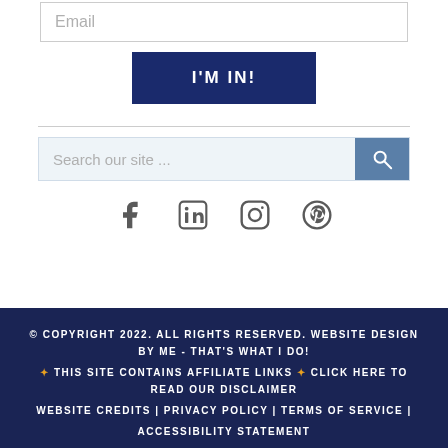Email
I'M IN!
Search our site ...
[Figure (infographic): Social media icons: Facebook, LinkedIn, Instagram, Pinterest]
© COPYRIGHT 2022. ALL RIGHTS RESERVED. WEBSITE DESIGN BY ME - THAT'S WHAT I DO! ✦ THIS SITE CONTAINS AFFILIATE LINKS ✦ CLICK HERE TO READ OUR DISCLAIMER WEBSITE CREDITS | PRIVACY POLICY | TERMS OF SERVICE | ACCESSIBILITY STATEMENT